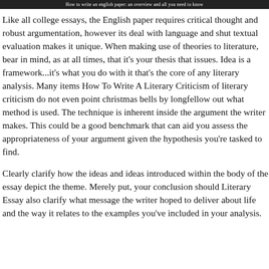How to write an english paper: an overview and all you need to know
Like all college essays, the English paper requires critical thought and robust argumentation, however its deal with language and shut textual evaluation makes it unique. When making use of theories to literature, bear in mind, as at all times, that it's your thesis that issues. Idea is a framework...it's what you do with it that's the core of any literary analysis. Many items How To Write A Literary Criticism of literary criticism do not even point christmas bells by longfellow out what method is used. The technique is inherent inside the argument the writer makes. This could be a good benchmark that can aid you assess the appropriateness of your argument given the hypothesis you're tasked to find.
Clearly clarify how the ideas and ideas introduced within the body of the essay depict the theme. Merely put, your conclusion should Literary Essay also clarify what message the writer hoped to deliver about life and the way it relates to the examples you've included in your analysis.